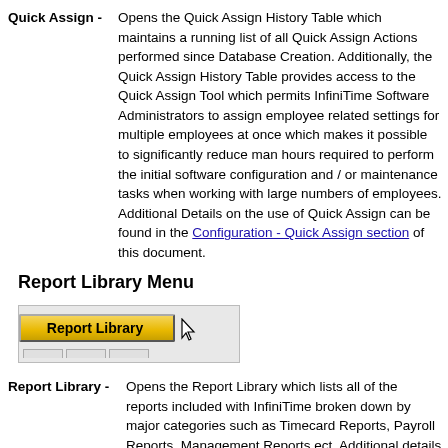Quick Assign - Opens the Quick Assign History Table which maintains a running list of all Quick Assign Actions performed since Database Creation. Additionally, the Quick Assign History Table provides access to the Quick Assign Tool which permits InfiniTime Software Administrators to assign employee related settings for multiple employees at once which makes it possible to significantly reduce man hours required to perform the initial software configuration and / or maintenance tasks when working with large numbers of employees. Additional Details on the use of Quick Assign can be found in the Configuration - Quick Assign section of this document.
Report Library Menu
[Figure (screenshot): Screenshot of a 'Report Library' button with a cursor/hand pointer hovering over it, and a tab strip beneath.]
Report Library - Opens the Report Library which lists all of the reports included with InfiniTime broken down by major categories such as Timecard Reports, Payroll Reports, Management Reports ect. Additional details on available reports and use of